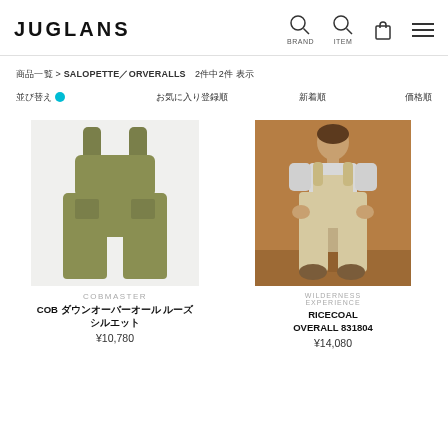JUGLANS | BRAND | ITEM
商品一覧 > SALOPETTE／ORVERALLS　2件中2件 表示
並び替え　　　　お気に入り登録順　　　 新着順　　　 価格順
[Figure (photo): Olive green bib overalls product photo on white background - COBMASTER brand]
COBMASTER
COB ダウンオーバーオール ルーズ シルエット
¥10,780
[Figure (photo): Person wearing beige/cream overalls standing against warm brown background - WILDERNESS EXPERIENCE brand]
WILDERNESS EXPERIENCE
RICECOAL OVERALL 831804
¥14,080